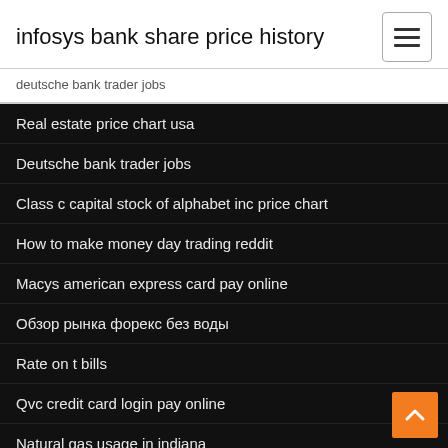infosys bank share price history
deutsche bank trader jobs
Real estate price chart usa
Deutsche bank trader jobs
Class c capital stock of alphabet inc price chart
How to make money day trading reddit
Macys american express card pay online
Обзор рынка форекс без воды
Rate on t bills
Qvc credit card login pay online
Natural gas usage in indiana
Current dollar euro exchange rate calculator